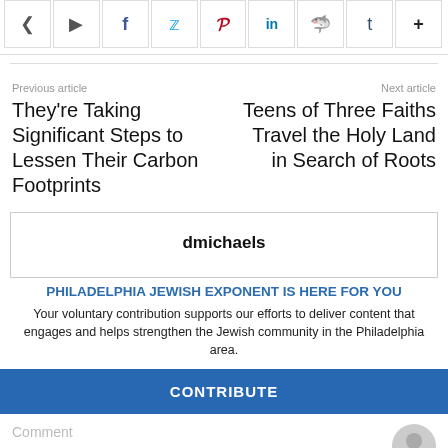[Figure (other): Social share icon bar with share, forward, Facebook, Twitter, Pinterest, LinkedIn, Reddit, Tumblr, and plus icons]
Previous article
Next article
They're Taking Significant Steps to Lessen Their Carbon Footprints
Teens of Three Faiths Travel the Holy Land in Search of Roots
dmichaels
PHILADELPHIA JEWISH EXPONENT IS HERE FOR YOU
Your voluntary contribution supports our efforts to deliver content that engages and helps strengthen the Jewish community in the Philadelphia area.
CONTRIBUTE
Comment